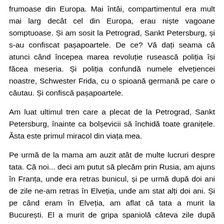frumoase din Europa. Mai întâi, compartimentul era mult mai larg decât cel din Europa, erau niște vagoane somptuoase. Și am sosit la Petrograd, Sankt Petersburg, și s-au confiscat pașapoartele. De ce? Vă dați seama că atunci când începea marea revoluție rusească poliția își făcea meseria. Și poliția confundă numele elvețiencei noastre, Schwester Frida, cu o spioană germană pe care o căutau. Și confiscă pașapoartele.
Am luat ultimul tren care a plecat de la Petrograd, Sankt Petersburg, înainte ca bolșevicii să închidă toate granițele. Ăsta este primul miracol din viața mea.
Pe urmă de la mama am auzit atât de multe lucruri despre tata. Că noi... deci am putut să plecăm prin Rusia, am ajuns în Franța, unde era retras bunicul, și pe urmă după doi ani de zile ne-am retras în Elveția, unde am stat alți doi ani. Și pe când eram în Elveția, am aflat că tata a murit la București. El a murit de gripa spaniolă câteva zile după armistițiu. Asta e un mare ghinion, ca să zic așa. Dar în toată copilăria mea am